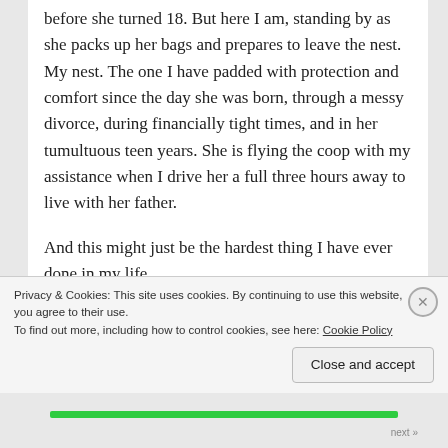before she turned 18. But here I am, standing by as she packs up her bags and prepares to leave the nest. My nest. The one I have padded with protection and comfort since the day she was born, through a messy divorce, during financially tight times, and in her tumultuous teen years. She is flying the coop with my assistance when I drive her a full three hours away to live with her father.

And this might just be the hardest thing I have ever done in my life.

For 14 years, I have been her primary caregiver, the one who is responsible for every aspect of her life. I
Privacy & Cookies: This site uses cookies. By continuing to use this website, you agree to their use.
To find out more, including how to control cookies, see here: Cookie Policy